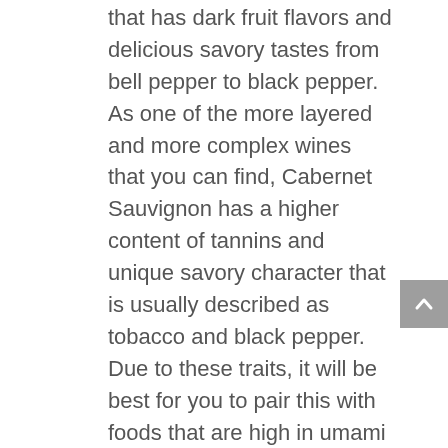that has dark fruit flavors and delicious savory tastes from bell pepper to black pepper. As one of the more layered and more complex wines that you can find, Cabernet Sauvignon has a higher content of tannins and unique savory character that is usually described as tobacco and black pepper. Due to these traits, it will be best for you to pair this with foods that are high in umami flavors and fat content.
PINOT NOIR
The world's most highly prized red wine, Pinot Noir is exactly the opposite of its